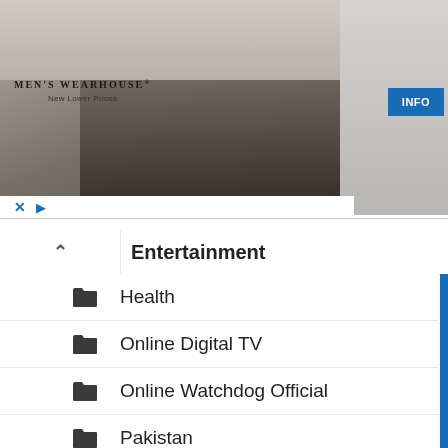[Figure (photo): Men's Wearhouse advertisement banner showing a couple in formal wear and a man in a suit, with INFO button]
Entertainment
Health
Online Digital TV
Online Watchdog Official
Pakistan
Sports
Top Stories
Uncategorized
World
انٹرنیشنل